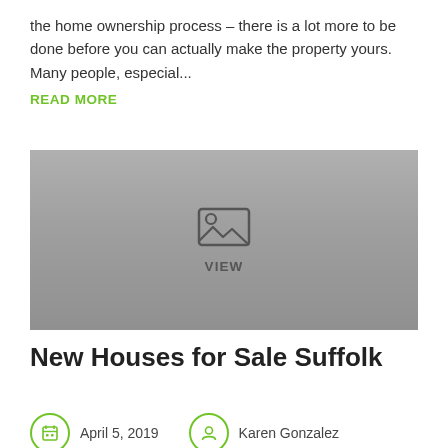the home ownership process – there is a lot more to be done before you can actually make the property yours. Many people, especial...
READ MORE
[Figure (photo): Placeholder image block with a mountain/landscape icon and the label VIEW beneath it, displayed in grayscale tones.]
New Houses for Sale Suffolk
April 5, 2019
Karen Gonzalez